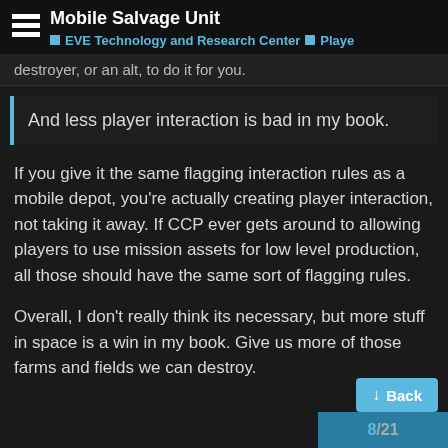Mobile Salvage Unit
EVE Technology and Research Center | Playe
destroyer, or an alt, to do it for you.
And less player interaction is bad in my book.
If you give it the same flagging interaction rules as a mobile depot, you’re actually creating player interaction, not taking it away. If CCP ever gets around to allowing players to use mission assets for low level production, all those should have the same sort of flagging rules.
Overall, I don’t really think its necessary, but more stuff in space is a win in my book. Give us more of those farms and fields we can destroy.
8 / 21